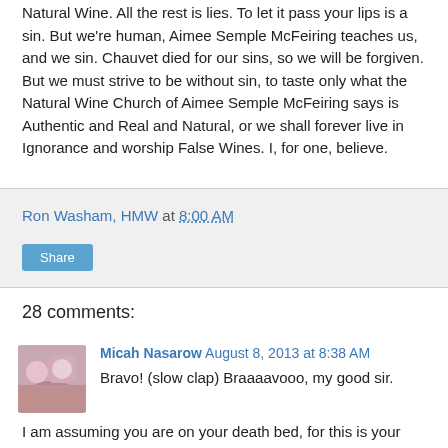Natural Wine. All the rest is lies. To let it pass your lips is a sin. But we're human, Aimee Semple McFeiring teaches us, and we sin. Chauvet died for our sins, so we will be forgiven. But we must strive to be without sin, to taste only what the Natural Wine Church of Aimee Semple McFeiring says is Authentic and Real and Natural, or we shall forever live in Ignorance and worship False Wines. I, for one, believe.
Ron Washam, HMW at 8:00 AM
Share
28 comments:
Micah Nasarow August 8, 2013 at 8:38 AM
Bravo! (slow clap) Braaaavooo, my good sir.
I am assuming you are on your death bed, for this is your master piece. Your Magnum opus.